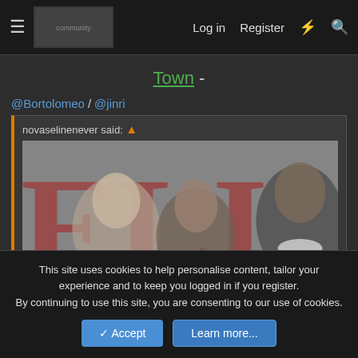Log in  Register
Town -
@Bortolomeo / @jinri
novaselinenever said: ↑
[Figure (photo): Magazine cover styled photo showing multiple women with large red letters 'EL' visible, black and white toned image]
Click to expand...
@Light D Lamperouge / @Rhea Calliope
This site uses cookies to help personalise content, tailor your experience and to keep you logged in if you register.
By continuing to use this site, you are consenting to our use of cookies.
Accept  Learn more...